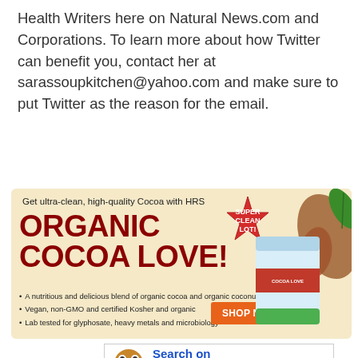Health Writers here on Natural News.com and Corporations. To learn more about how Twitter can benefit you, contact her at sarassoupkitchen@yahoo.com and make sure to put Twitter as the reason for the email.
[Figure (infographic): Advertisement for Organic Cocoa Love product by HRS. Beige background with red bold text 'ORGANIC COCOA LOVE!', tagline 'Get ultra-clean, high-quality Cocoa with HRS', star badge 'SUPER CLEAN LOT!', bullet points about product features, orange 'SHOP NOW >' button, and product bag image with cocoa pods.]
[Figure (infographic): GoodGopher.com search banner with cartoon gopher mascot and 'Search on GoodGopher.com' text in blue.]